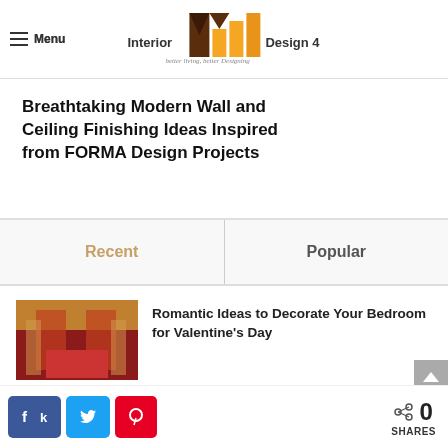Interior Design 4 — better living, better Designing
Breathtaking Modern Wall and Ceiling Finishing Ideas Inspired from FORMA Design Projects
Recent | Popular
Romantic Ideas to Decorate Your Bedroom for Valentine's Day
Amazing Ideas to Decorate your Teenager Son or Daughter's Bedroom
0 SHARES — Facebook, Twitter, Pinterest share buttons